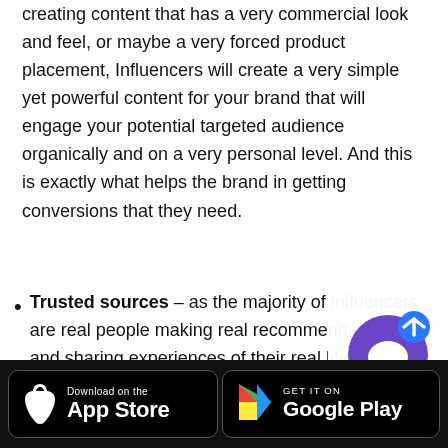creating content that has a very commercial look and feel, or maybe a very forced product placement, Influencers will create a very simple yet powerful content for your brand that will engage your potential targeted audience organically and on a very personal level. And this is exactly what helps the brand in getting conversions that they need.
Trusted sources – as the majority of influencers are real people making real recommendations, and sharing experiences of their real life, their followers tru... only r...
[Figure (screenshot): Chat support widget with purple circular icon and arrow]
[Figure (screenshot): App Store download button (black, Apple logo) and Google Play download button (black, Play logo) in a dark footer bar]